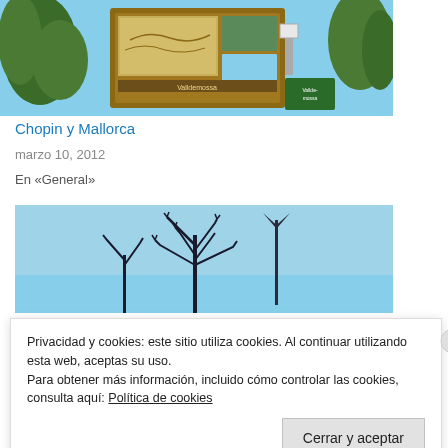[Figure (photo): Outdoor information board/map for Valldemossa, surrounded by trees and vegetation]
Chopin y Mallorca
marzo 10, 2012
En «General»
[Figure (photo): Photo of plant silhouette against blue sky with wind turbine visible]
Privacidad y cookies: este sitio utiliza cookies. Al continuar utilizando esta web, aceptas su uso.
Para obtener más información, incluido cómo controlar las cookies, consulta aquí: Política de cookies
Cerrar y aceptar